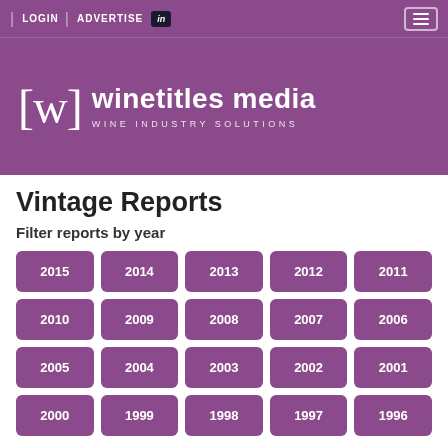LOGIN | ADVERTISE | in | [hamburger menu]
[Figure (logo): Winetitles Media logo - [w] winetitles media WINE INDUSTRY SOLUTIONS on purple background]
Vintage Reports
Filter reports by year
2015
2014
2013
2012
2011
2010
2009
2008
2007
2006
2005
2004
2003
2002
2001
2000
1999
1998
1997
1996